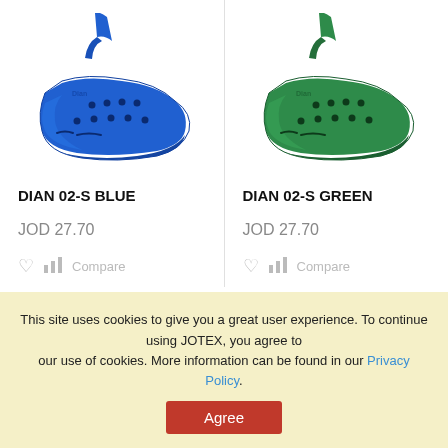[Figure (photo): Blue clog shoe (DIAN 02-S BLUE) on white background]
[Figure (photo): Green clog shoe (DIAN 02-S GREEN) on white background]
DIAN 02-S BLUE
DIAN 02-S GREEN
JOD 27.70
JOD 27.70
Compare
Compare
This site uses cookies to give you a great user experience. To continue using JOTEX, you agree to our use of cookies. More information can be found in our Privacy Policy.
Agree